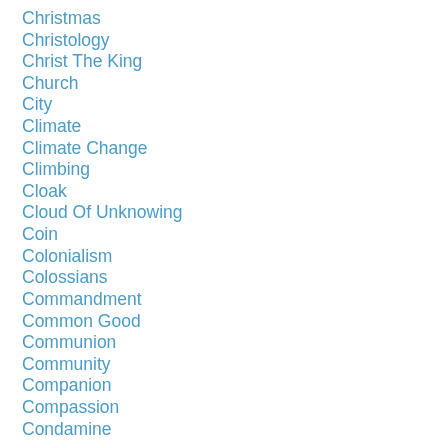Christmas
Christology
Christ The King
Church
City
Climate
Climate Change
Climbing
Cloak
Cloud Of Unknowing
Coin
Colonialism
Colossians
Commandment
Common Good
Communion
Community
Companion
Compassion
Condamine